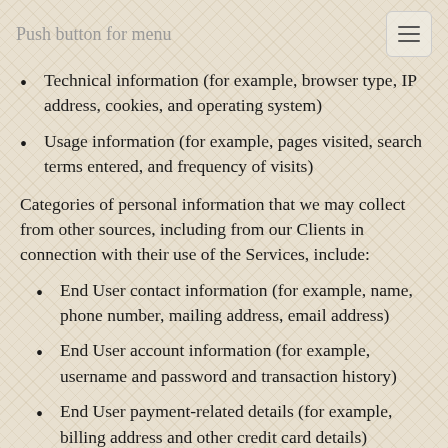Push button for menu
Technical information (for example, browser type, IP address, cookies, and operating system)
Usage information (for example, pages visited, search terms entered, and frequency of visits)
Categories of personal information that we may collect from other sources, including from our Clients in connection with their use of the Services, include:
End User contact information (for example, name, phone number, mailing address, email address)
End User account information (for example, username and password and transaction history)
End User payment-related details (for example, billing address and other credit card details)